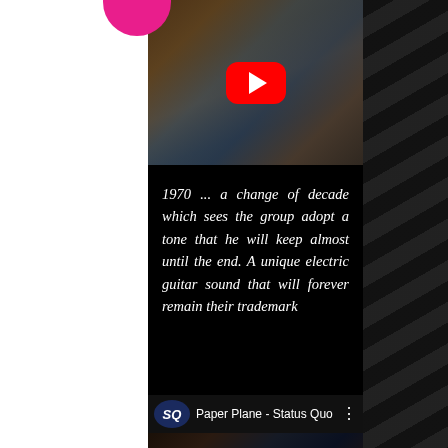[Figure (screenshot): YouTube video thumbnail showing group of people at what appears to be a concert or event, with a red YouTube play button overlay]
1970 ... a change of decade which sees the group adopt a tone that he will keep almost until the end. A unique electric guitar sound that will forever remain their trademark
[Figure (screenshot): YouTube video thumbnail for 'Paper Plane - Status Quo' with SQ logo, three-dot menu, red YouTube play button, and chat bubble button. Shows musicians performing on stage.]